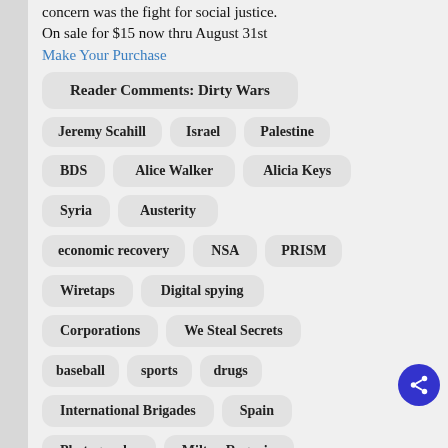concern was the fight for social justice. On sale for $15 now thru August 31st
Make Your Purchase
Reader Comments: Dirty Wars
Jeremy Scahill
Israel
Palestine
BDS
Alice Walker
Alicia Keys
Syria
Austerity
economic recovery
NSA
PRISM
Wiretaps
Digital spying
Corporations
We Steal Secrets
baseball
sports
drugs
International Brigades
Spain
Photography
Milton Rogovin